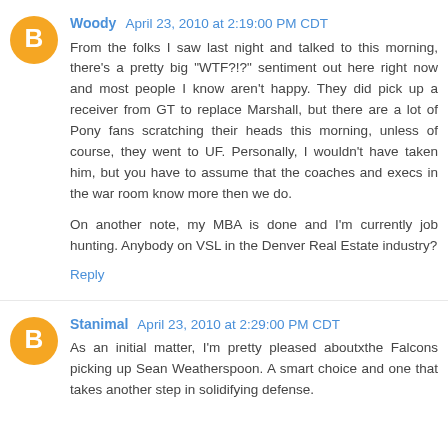Woody  April 23, 2010 at 2:19:00 PM CDT
From the folks I saw last night and talked to this morning, there's a pretty big "WTF?!?" sentiment out here right now and most people I know aren't happy. They did pick up a receiver from GT to replace Marshall, but there are a lot of Pony fans scratching their heads this morning, unless of course, they went to UF. Personally, I wouldn't have taken him, but you have to assume that the coaches and execs in the war room know more then we do.

On another note, my MBA is done and I'm currently job hunting. Anybody on VSL in the Denver Real Estate industry?
Reply
Stanimal  April 23, 2010 at 2:29:00 PM CDT
As an initial matter, I'm pretty pleased aboutxthe Falcons picking up Sean Weatherspoon. A smart choice and one that takes another step in solidifying defense.